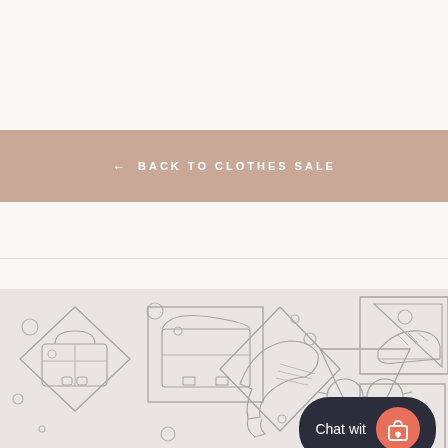← BACK TO CLOTHES SALE
[Figure (illustration): Fashion accessories illustration: handbag in diamond shape, messenger bag in square frame, eyeglasses in triangle shape, high heel shoe in diamond shape, dress shoe in triangle shape, and another shoe sketch in rectangle frame. Line art on grey background with decorative circles.]
Chat wit